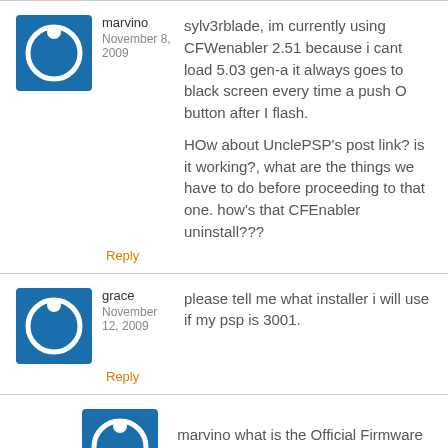marvino
November 8, 2009
sylv3rblade, im currently using CFWenabler 2.51 because i cant load 5.03 gen-a it always goes to black screen every time a push O button after I flash.

HOw about UnclePSP's post link? is it working?, what are the things we have to do before proceeding to that one. how's that CFEnabler uninstall???
Reply
grace
November 12, 2009
please tell me what installer i will use if my psp is 3001.
Reply
marvino what is the Official Firmware version of your psp? go to